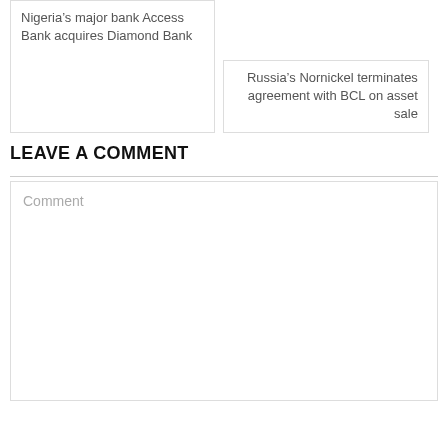Nigeria’s major bank Access Bank acquires Diamond Bank
Russia’s Nornickel terminates agreement with BCL on asset sale
LEAVE A COMMENT
Comment